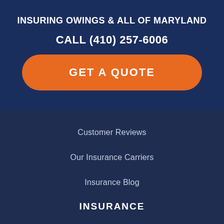INSURING OWINGS & ALL OF MARYLAND
CALL (410) 257-6006
GET A QUOTE
Customer Reviews
Our Insurance Carriers
Insurance Blog
INSURANCE